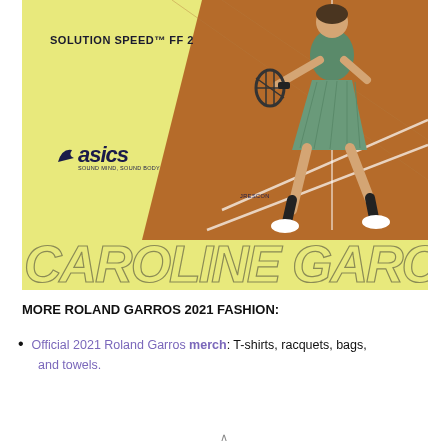[Figure (photo): ASICS advertisement featuring Caroline Garcia on a yellow background with clay court. Shows 'SOLUTION SPEED FF 2' product text, ASICS logo, and large outlined italic text reading 'CAROLINE GARCIA' at the bottom. Player in green skirt visible on right side against clay court background.]
MORE ROLAND GARROS 2021 FASHION:
Official 2021 Roland Garros merch: T-shirts, racquets, bags, and towels.